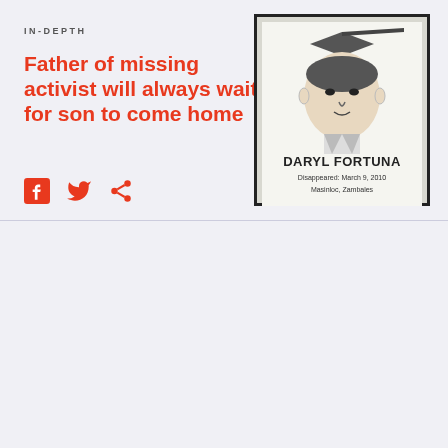IN-DEPTH
Father of missing activist will always wait for son to come home
[Figure (photo): A framed sketch portrait of Daryl Fortuna with text: DARYL FORTUNA, Disappeared: March 9, 2010, Masinloc, Zambales]
IN-DEPTH
No ‘moving on’ for kin of Martial Law desaparecido Romeo Crismo
[Figure (photo): Black and white graduation photo of Romeo Crismo in front of a wall with letters A and G visible]